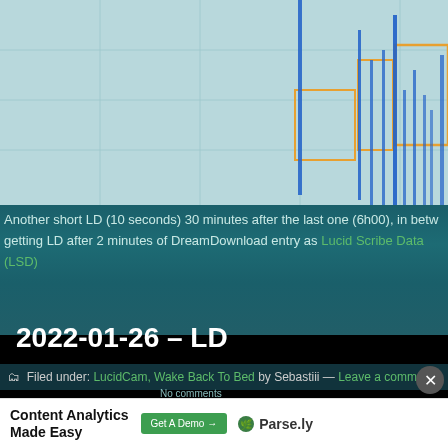[Figure (screenshot): EEG or biometric chart screenshot with blue vertical spike lines and orange horizontal/rectangular overlay markers on a light blue-green grid background. Shows high spikes in the right portion of the chart around the 6h00 timeframe.]
Another short LD (10 seconds) 30 minutes after the last one (6h00), in between getting LD after 2 minutes of DreamDownload entry as Lucid Scribe Data (LSD)
2022-01-26 – LD
Filed under: LucidCam, Wake Back To Bed by Sebastiii — Leave a comment
[Figure (screenshot): Advertisement banner: Content Analytics Made Easy — Get A Demo → Parse.ly]